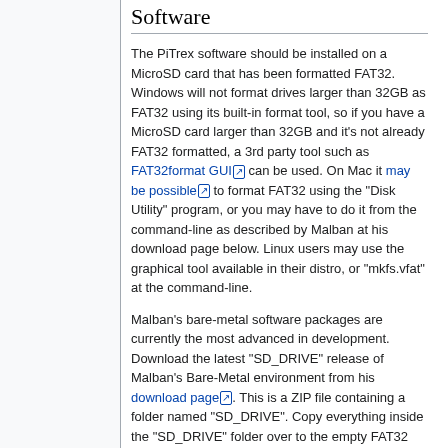Software
The PiTrex software should be installed on a MicroSD card that has been formatted FAT32. Windows will not format drives larger than 32GB as FAT32 using its built-in format tool, so if you have a MicroSD card larger than 32GB and it's not already FAT32 formatted, a 3rd party tool such as FAT32format GUI can be used. On Mac it may be possible to format FAT32 using the "Disk Utility" program, or you may have to do it from the command-line as described by Malban at his download page below. Linux users may use the graphical tool available in their distro, or "mkfs.vfat" at the command-line.
Malban's bare-metal software packages are currently the most advanced in development. Download the latest "SD_DRIVE" release of Malban's Bare-Metal environment from his download page. This is a ZIP file containing a folder named "SD_DRIVE". Copy everything inside the "SD_DRIVE" folder over to the empty FAT32 formatted MicroSD card.
With the PiTrex inserted in the Vectrex...